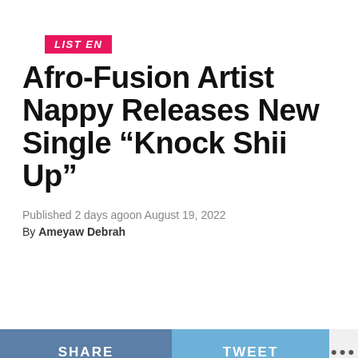LISTEN
Afro-Fusion Artist Nappy Releases New Single “Knock Shii Up”
Published 2 days agoon August 19, 2022
By Ameyaw Debrah
SHARE   TWEET   •••